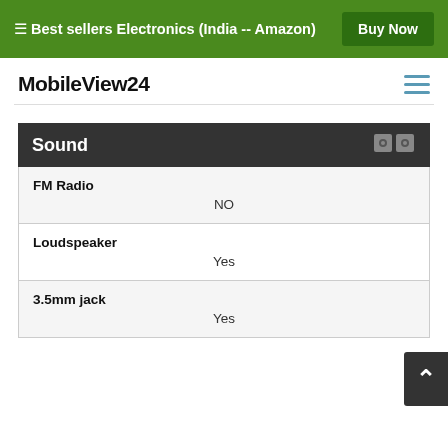☰ Best sellers Electronics (India -- Amazon)  Buy Now
MobileView24
| Sound |  |
| --- | --- |
| FM Radio | NO |
| Loudspeaker | Yes |
| 3.5mm jack | Yes |